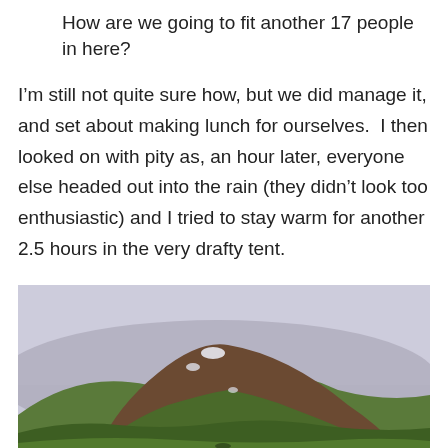How are we going to fit another 17 people in here?
I’m still not quite sure how, but we did manage it, and set about making lunch for ourselves.  I then looked on with pity as, an hour later, everyone else headed out into the rain (they didn’t look too enthusiastic) and I tried to stay warm for another 2.5 hours in the very drafty tent.
[Figure (photo): Landscape photograph of a green and brown volcanic mountain hillside under a pale overcast sky, with patches of snow visible on the slopes.]